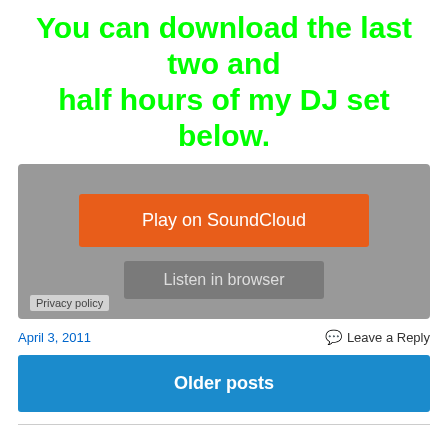You can download the last two and half hours of my DJ set below.
[Figure (screenshot): SoundCloud embedded player widget with orange 'Play on SoundCloud' button and grey 'Listen in browser' button on a grey background, with 'Privacy policy' label at bottom left.]
April 3, 2011
Leave a Reply
Older posts